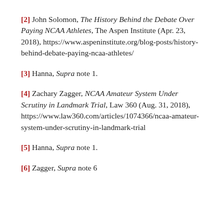[2] John Solomon, The History Behind the Debate Over Paying NCAA Athletes, The Aspen Institute (Apr. 23, 2018), https://www.aspeninstitute.org/blog-posts/history-behind-debate-paying-ncaa-athletes/
[3] Hanna, Supra note 1.
[4] Zachary Zagger, NCAA Amateur System Under Scrutiny in Landmark Trial, Law 360 (Aug. 31, 2018), https://www.law360.com/articles/1074366/ncaa-amateur-system-under-scrutiny-in-landmark-trial
[5] Hanna, Supra note 1.
[6] Zagger, Supra note 6